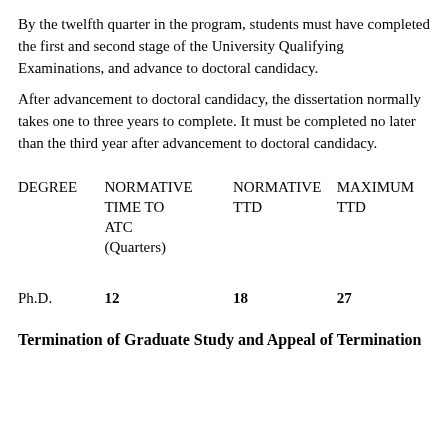By the twelfth quarter in the program, students must have completed the first and second stage of the University Qualifying Examinations, and advance to doctoral candidacy.
After advancement to doctoral candidacy, the dissertation normally takes one to three years to complete. It must be completed no later than the third year after advancement to doctoral candidacy.
| DEGREE | NORMATIVE TIME TO ATC (Quarters) | NORMATIVE TTD | MAXIMUM TTD |
| --- | --- | --- | --- |
| Ph.D. | 12 | 18 | 27 |
Termination of Graduate Study and Appeal of Termination